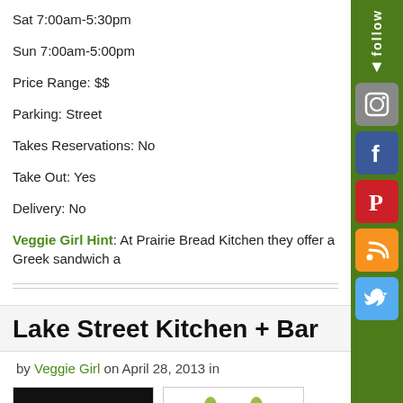Sat 7:00am-5:30pm
Sun 7:00am-5:00pm
Price Range: $$
Parking: Street
Takes Reservations: No
Take Out: Yes
Delivery: No
Veggie Girl Hint: At Prairie Bread Kitchen they offer a Greek sandwich a…
Lake Street Kitchen + Bar
by Veggie Girl on April 28, 2013 in
[Figure (logo): Lake Street Kitchen logo with fork icon on black background, text reads AKE with fork]
[Figure (photo): Two green artichokes on white background]